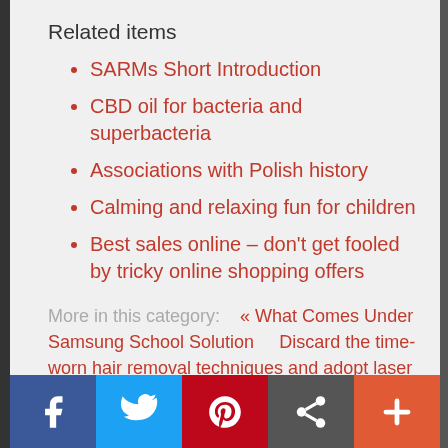Related items
SARMs Short Introduction
CBD oil for bacteria and superbacteria
Associations with Polish history
Calming and relaxing fun for children
Best sales online – don't get fooled by tricky online shopping offers
More in this category:    « What Comes Under Samsung School Solution       Discard the time-worn hair removal techniques and adopt laser methods ! »